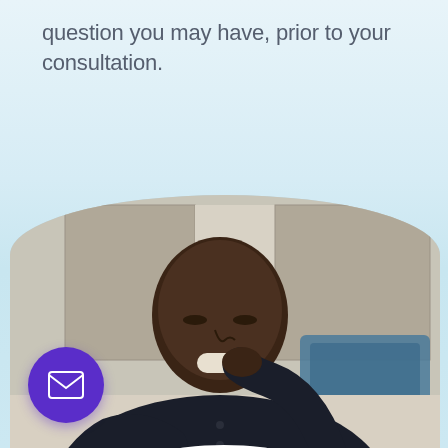question you may have, prior to your consultation.
[Figure (photo): A man wearing a dark navy shirt sits on or near a bed, inserting or using a dental/oral device (mouthguard or similar). He is looking down. Bed headboard and pillows visible in background. A purple circular button with an email envelope icon is overlaid in the bottom-left corner.]